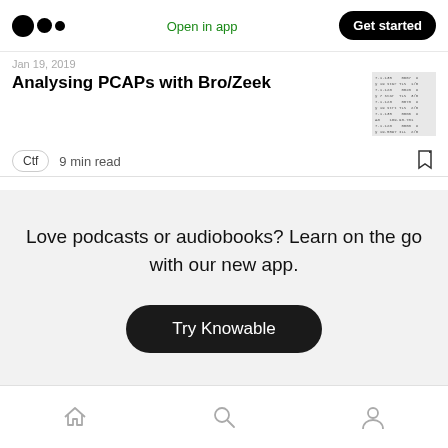Open in app | Get started
Jan 19, 2019
Analysing PCAPs with Bro/Zeek
[Figure (screenshot): Terminal/log output screenshot showing network packet data with columns for timestamps, TLS, IP addresses and port numbers]
Ctf   9 min read
Love podcasts or audiobooks? Learn on the go with our new app.
Try Knowable
Home | Search | Profile